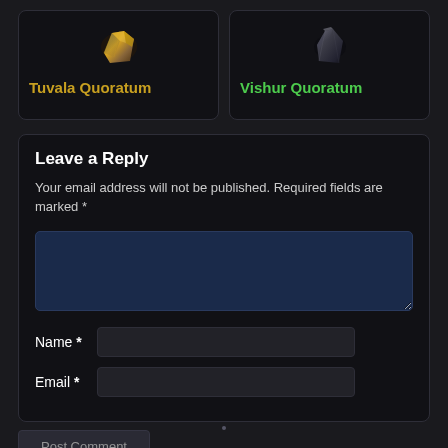[Figure (illustration): Tuvala Quoratum item card with golden-brown gemstone/crystal image]
Tuvala Quoratum
[Figure (illustration): Vishur Quoratum item card with dark crystal/stone image]
Vishur Quoratum
Leave a Reply
Your email address will not be published. Required fields are marked *